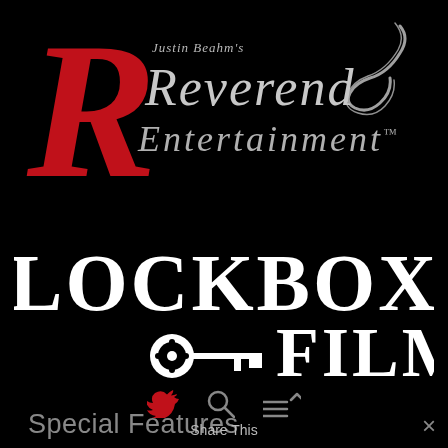[Figure (logo): Justin Beahm's Reverend Entertainment logo — large red cursive R with grey/silver cursive 'Reverend Entertainment' text and decorative swirl on black background]
[Figure (logo): Lockbox Films logo — white decorative serif text 'LOCKBOX' on top row and 'FILMS' on bottom row with a film-reel key icon between them, on black background]
[Figure (infographic): Navigation icons row: red Twitter bird icon, grey search/magnifying glass icon, grey menu/hamburger icon with up arrow]
Special Features
Share This
×